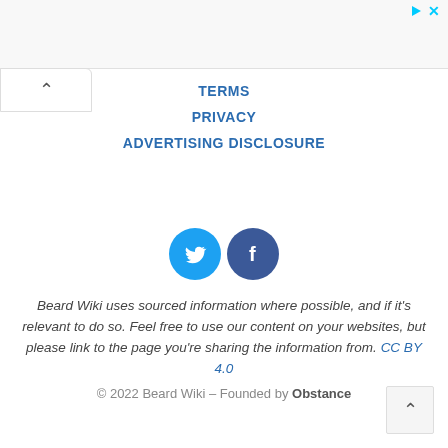[Figure (screenshot): Ad banner area at the top with play and close (x) controls in cyan/blue]
[Figure (screenshot): Back-to-top button (up caret) on the left below ad bar]
TERMS
PRIVACY
ADVERTISING DISCLOSURE
[Figure (illustration): Twitter bird icon in blue circle and Facebook f icon in dark blue circle]
Beard Wiki uses sourced information where possible, and if it's relevant to do so. Feel free to use our content on your websites, but please link to the page you're sharing the information from. CC BY 4.0
© 2022 Beard Wiki – Founded by Obstance
[Figure (screenshot): Back-to-top button (up caret) on the bottom right]